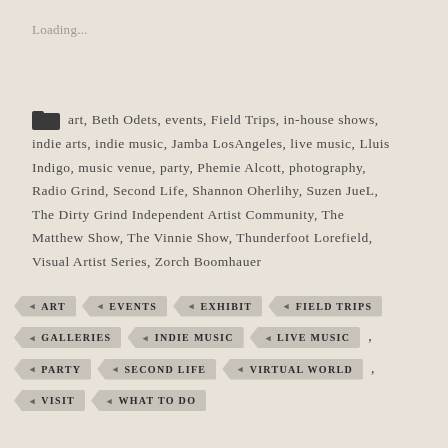Loading...
art, Beth Odets, events, Field Trips, in-house shows, indie arts, indie music, Jamba LosAngeles, live music, Lluis Indigo, music venue, party, Phemie Alcott, photography, Radio Grind, Second Life, Shannon Oherlihy, Suzen JueL, The Dirty Grind Independent Artist Community, The Matthew Show, The Vinnie Show, Thunderfoot Lorefield, Visual Artist Series, Zorch Boomhauer
ART
EVENTS
EXHIBIT
FIELD TRIPS
GALLERIES
INDIE MUSIC
LIVE MUSIC
PARTY
SECOND LIFE
VIRTUAL WORLD
VISIT
WHAT TO DO